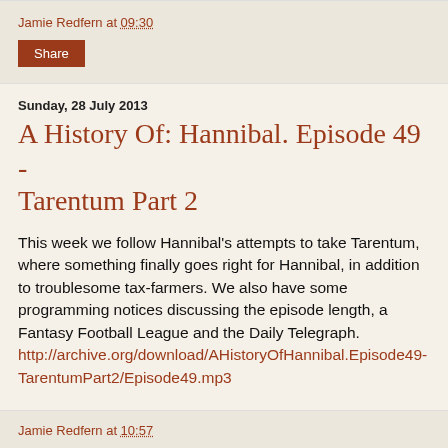Jamie Redfern at 09:30
Share
Sunday, 28 July 2013
A History Of: Hannibal. Episode 49 - Tarentum Part 2
This week we follow Hannibal's attempts to take Tarentum, where something finally goes right for Hannibal, in addition to troublesome tax-farmers. We also have some programming notices discussing the episode length, a Fantasy Football League and the Daily Telegraph. http://archive.org/download/AHistoryOfHannibal.Episode49-TarentumPart2/Episode49.mp3
Jamie Redfern at 10:57